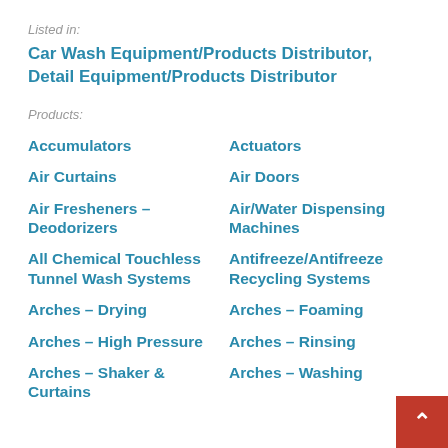Listed in:
Car Wash Equipment/Products Distributor, Detail Equipment/Products Distributor
Products:
Accumulators
Actuators
Air Curtains
Air Doors
Air Fresheners – Deodorizers
Air/Water Dispensing Machines
All Chemical Touchless Tunnel Wash Systems
Antifreeze/Antifreeze Recycling Systems
Arches – Drying
Arches – Foaming
Arches – High Pressure
Arches – Rinsing
Arches – Shaker & Curtains
Arches – Washing